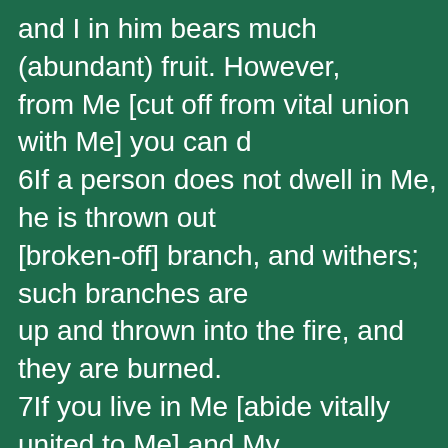and I in him bears much (abundant) fruit. However, from Me [cut off from vital union with Me] you can d 6If a person does not dwell in Me, he is thrown out [broken-off] branch, and withers; such branches are up and thrown into the fire, and they are burned. 7If you live in Me [abide vitally united to Me] and My remain in you and continue to live in your hearts, as whatever you will, and it shall be done for you. 8When you bear (produce) much fruit, My Father is and glorified, and you show and prove yourselves to followers of Mine. 9I have loved you, [just] as the Father has loved Me My love [continue in His love with Me]. 10If you keep My commandments [if you continue t My instructions], you will abide in My love and live o just as I have obeyed My Father's commandments on in His love.